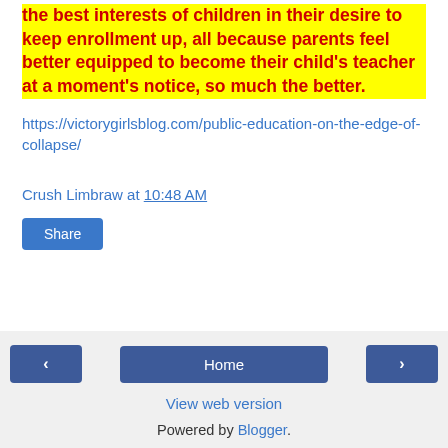the best interests of children in their desire to keep enrollment up, all because parents feel better equipped to become their child's teacher at a moment's notice, so much the better.
https://victorygirlsblog.com/public-education-on-the-edge-of-collapse/
Crush Limbraw at 10:48 AM
Share
‹  Home  ›  View web version  Powered by Blogger.